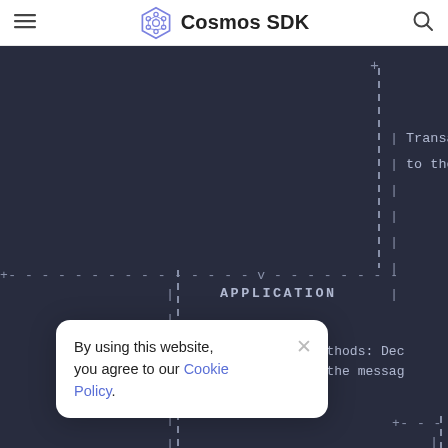Cosmos SDK
[Figure (engineering-diagram): Dark background ASCII/diagram showing an APPLICATION box with dashed borders, vertical and horizontal dashed lines forming a box. Text reads: Transacti / to the no on the right, APPLICATION label in the center, and 'Using baseapp's methods: Dec / extract and route the messag' inside the box area.]
By using this website, you agree to our Cookie Policy.